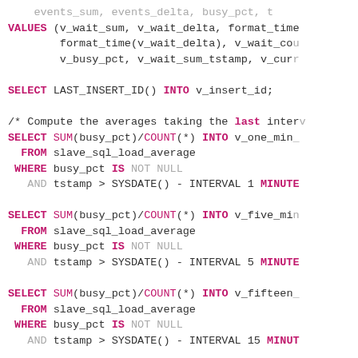SQL stored procedure code snippet showing INSERT, SELECT, UPDATE, DELETE statements with load average calculations